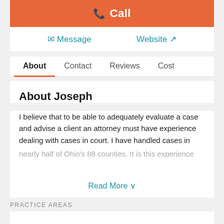[Figure (screenshot): Orange Call button with phone icon]
Message   Website
About   Contact   Reviews   Cost
About Joseph
I believe that to be able to adequately evaluate a case and advise a client an attorney must have experience dealing with cases in court.  I have handled cases in nearly half of Ohio's 88 counties.  It is this experience
Read More
PRACTICE AREAS
[Figure (pie-chart): Partially visible pie chart showing practice areas with dark blue, teal/cyan, and salmon/orange segments]